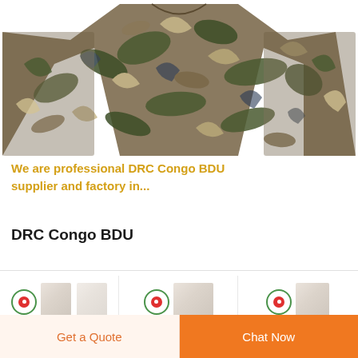[Figure (photo): A camouflage military BDU jacket/shirt laid flat against a white background. The pattern features dark olive green, brown, and beige palm/tropical leaf prints — DRC Congo camouflage pattern.]
We are professional DRC Congo BDU supplier and factory in...
DRC Congo BDU
[Figure (photo): Small thumbnail images of fabric/product samples with green and red circular badge icons]
Get a Quote
Chat Now